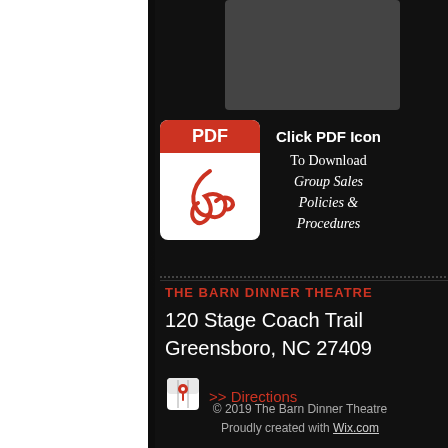[Figure (illustration): PDF icon with red header bar labeled PDF and red Acrobat logo symbol on white background]
Click PDF Icon
To Download
Group Sales Policies & Procedures
THE BARN DINNER THEATRE
120 Stage Coach Trail
Greensboro, NC 27409
>> Directions
© 2019 The Barn Dinner Theatre
Proudly created with Wix.com